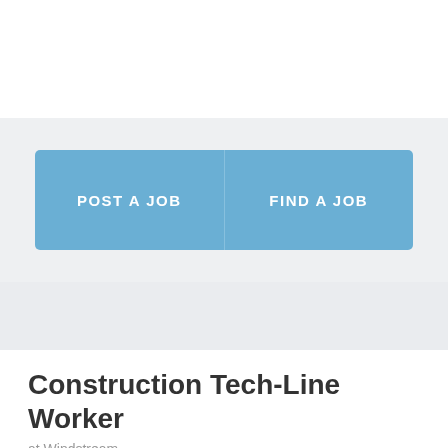[Figure (screenshot): Two buttons: POST A JOB and FIND A JOB on a light gray background]
Construction Tech-Line Worker
at Windstream
Location    Muncy